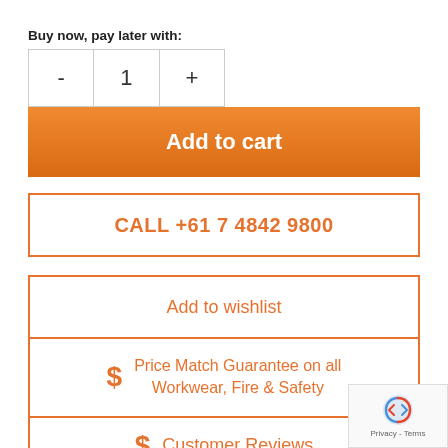Buy now, pay later with:
| - | 1 | + |
| --- | --- | --- |
Add to cart
CALL +61 7 4842 9800
Add to wishlist
$ Price Match Guarantee on all Workwear, Fire & Safety
$ Customer Reviews